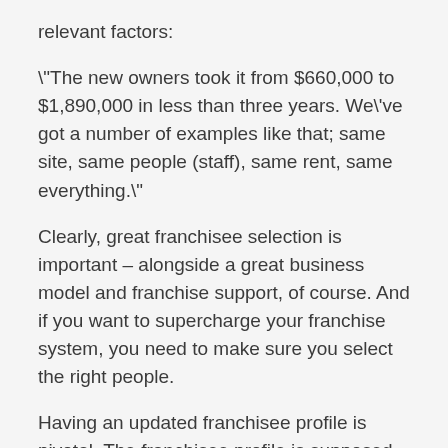relevant factors:
"The new owners took it from $660,000 to $1,890,000 in less than three years. We've got a number of examples like that; same site, same people (staff), same rent, same everything."
Clearly, great franchisee selection is important – alongside a great business model and franchise support, of course. And if you want to supercharge your franchise system, you need to make sure you select the right people.
Having an updated franchisee profile is pivotal. The franchisee profile is supposed to reflect those identifiable attributes most associated with successful franchisees. It can